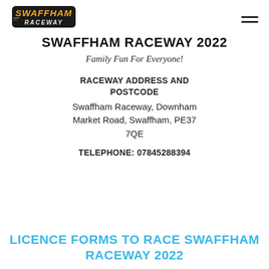[Figure (logo): Swaffham Raceway logo in orange and yellow italic font with stylized text]
SWAFFHAM RACEWAY 2022
Family Fun For Everyone!
RACEWAY ADDRESS AND POSTCODE
Swaffham Raceway, Downham Market Road, Swaffham, PE37 7QE
TELEPHONE: 07845288394
LICENCE FORMS TO RACE SWAFFHAM RACEWAY 2022